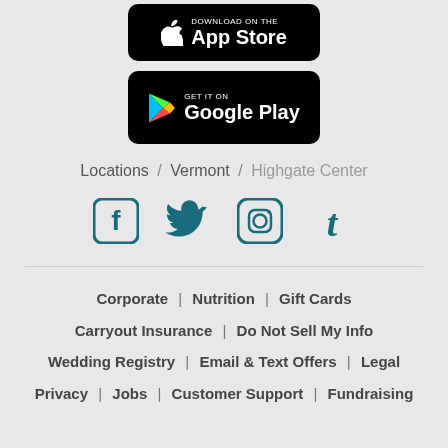[Figure (logo): App Store download button (black rounded rectangle with Apple logo and 'Download on the App Store' text)]
[Figure (logo): Google Play download button (black rounded rectangle with Google Play triangle logo and 'GET IT ON Google Play' text)]
Locations / Vermont / Highgate Center
[Figure (illustration): Social media icons row: Facebook, Twitter, Instagram, Tumblr — all in teal/dark cyan color]
Corporate | Nutrition | Gift Cards
Carryout Insurance | Do Not Sell My Info
Wedding Registry | Email & Text Offers | Legal
Privacy | Jobs | Customer Support | Fundraising